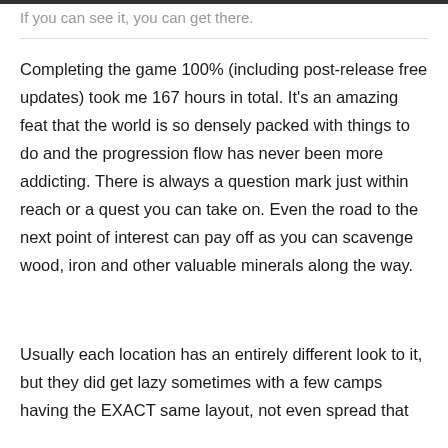If you can see it, you can get there.
Completing the game 100% (including post-release free updates) took me 167 hours in total. It's an amazing feat that the world is so densely packed with things to do and the progression flow has never been more addicting. There is always a question mark just within reach or a quest you can take on. Even the road to the next point of interest can pay off as you can scavenge wood, iron and other valuable minerals along the way.
Usually each location has an entirely different look to it, but they did get lazy sometimes with a few camps having the EXACT same layout, not even spread that